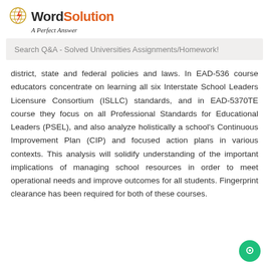[Figure (logo): MyWordSolution logo with globe icon, 'My Word Solution' text and tagline 'A Perfect Answer']
Search Q&A - Solved Universities Assignments/Homework!
district, state and federal policies and laws. In EAD-536 course educators concentrate on learning all six Interstate School Leaders Licensure Consortium (ISLLC) standards, and in EAD-5370TE course they focus on all Professional Standards for Educational Leaders (PSEL), and also analyze holistically a school's Continuous Improvement Plan (CIP) and focused action plans in various contexts. This analysis will solidify understanding of the important implications of managing school resources in order to meet operational needs and improve outcomes for all students. Fingerprint clearance has been required for both of these courses.